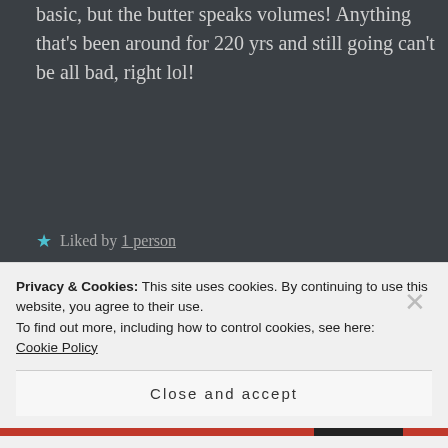basic, but the butter speaks volumes! Anything that's been around for 220 yrs and still going can't be all bad, right lol!
★ Liked by 1 person
SPEARFRUIT says:
January 5, 2016 at 10:43 pm
I agree. My grandmother use to
Privacy & Cookies: This site uses cookies. By continuing to use this website, you agree to their use.
To find out more, including how to control cookies, see here: Cookie Policy
Close and accept